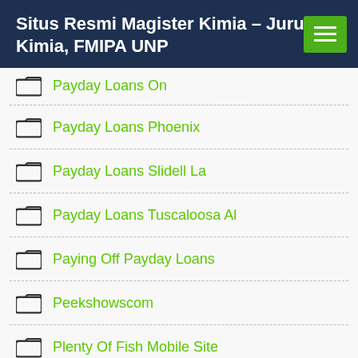Situs Resmi Magister Kimia – Jurusan Kimia, FMIPA UNP
Payday Loans On
Payday Loans Phoenix
Payday Loans Slidell La
Payday Loans Tuscaloosa Al
Paying Off Payday Loans
Peekshowscom
Plenty Of Fish Mobile Site